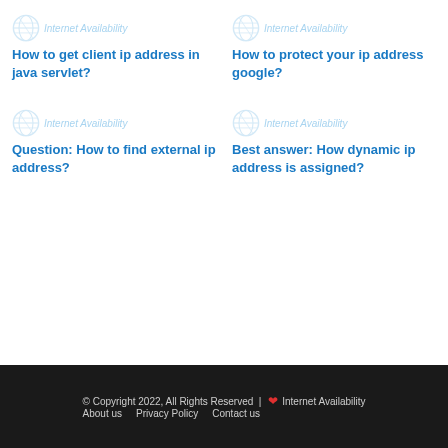[Figure (logo): Internet Availability logo with globe icon - top left]
[Figure (logo): Internet Availability logo with globe icon - top right]
How to get client ip address in java servlet?
How to protect your ip address google?
[Figure (logo): Internet Availability logo with globe icon - bottom left]
[Figure (logo): Internet Availability logo with globe icon - bottom right]
Question: How to find external ip address?
Best answer: How dynamic ip address is assigned?
© Copyright 2022, All Rights Reserved | ❤ Internet Availability   About us   Privacy Policy   Contact us